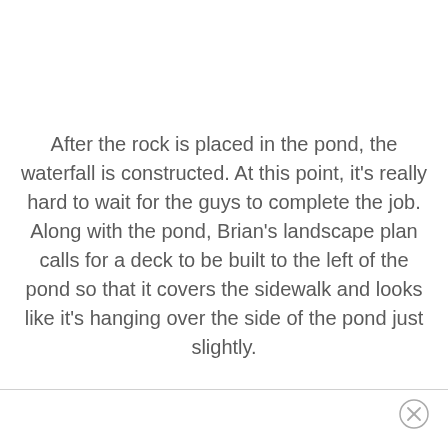After the rock is placed in the pond, the waterfall is constructed. At this point, it's really hard to wait for the guys to complete the job. Along with the pond, Brian's landscape plan calls for a deck to be built to the left of the pond so that it covers the sidewalk and looks like it's hanging over the side of the pond just slightly.